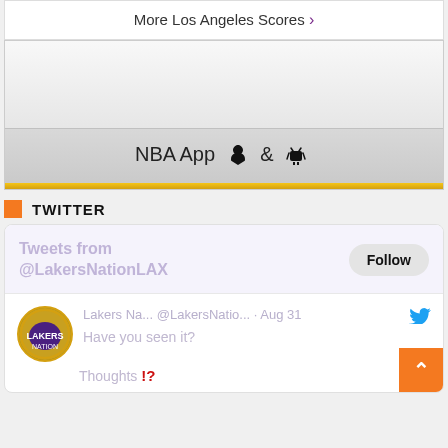More Los Angeles Scores ›
[Figure (screenshot): NBA App widget with Apple and Android icons, gold bottom bar]
TWITTER
[Figure (screenshot): Twitter widget showing Tweets from @LakersNationLAX with Follow button and a tweet from Lakers Na... @LakersNatio... Aug 31 saying 'Have you seen it? Thoughts !?']
Lakers Na... @LakersNatio... · Aug 31 Have you seen it? Thoughts !?